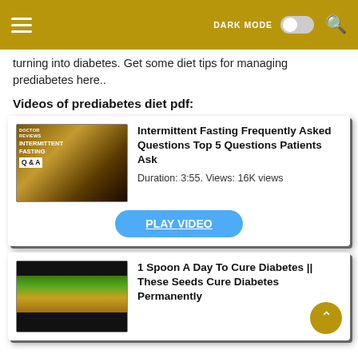DARK MODE [toggle] [search]
turning into diabetes. Get some diet tips for managing prediabetes here..
Videos of prediabetes diet pdf:
[Figure (screenshot): Video card 1: Thumbnail showing Doctor Reviews Intermittent Fasting Q&A with a woman pointing, title 'Intermittent Fasting Frequently Asked Questions Top 5 Questions Patients Ask', Duration: 3:55. Views: 16K views, with a blue PLAY VIDEO button]
[Figure (screenshot): Video card 2 (partially visible): Thumbnail of seeds and green leaves, title '1 Spoon A Day To Cure Diabetes || These Seeds Cure Diabetes Permanently']